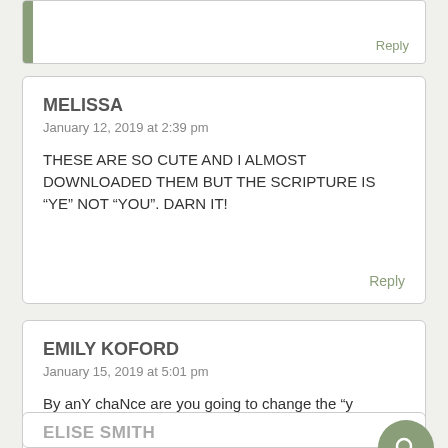Reply
MELISSA
January 12, 2019 at 2:39 pm
THESE ARE SO CUTE AND I ALMOST DOWNLOADED THEM BUT THE SCRIPTURE IS “YE” NOT “YOU”. DARN IT!
Reply
EMILY KOFORD
January 15, 2019 at 5:01 pm
By anY chaNce are you going to change the “y” to “ye”? I’d love to use a corrected priNt in my classroom. You ARE so great! ❤
Reply
ELISE SMITH